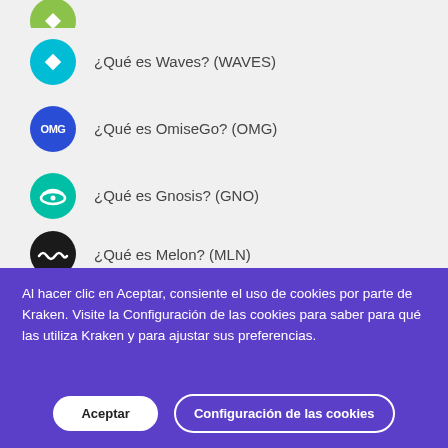¿Qué es Waves? (WAVES)
¿Qué es OmiseGo? (OMG)
¿Qué es Gnosis? (GNO)
¿Qué es Melon? (MLN)
Al hacer clic en Aceptar, consiente el uso de cookies por parte de Kraken. Visite la Configuración de las cookies para saber para qué las utiliza Kraken y para ajustar sus preferencias.
Aceptar
Configuración de las cookies